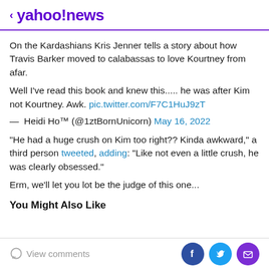< yahoo!news
On the Kardashians Kris Jenner tells a story about how Travis Barker moved to calabassas to love Kourtney from afar.
Well I've read this book and knew this..... he was after Kim not Kourtney. Awk. pic.twitter.com/F7C1HuJ9zT
— Heidi Ho™ (@1ztBornUnicorn) May 16, 2022
"He had a huge crush on Kim too right?? Kinda awkward," a third person tweeted, adding: "Like not even a little crush, he was clearly obsessed."
Erm, we'll let you lot be the judge of this one...
You Might Also Like
View comments